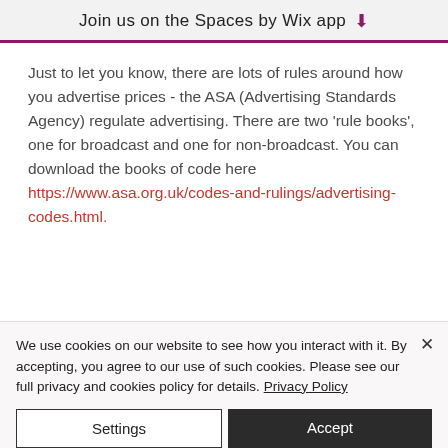Join us on the Spaces by Wix app ↓
Just to let you know, there are lots of rules around how you advertise prices - the ASA (Advertising Standards Agency) regulate advertising. There are two 'rule books', one for broadcast and one for non-broadcast. You can download the books of code here https://www.asa.org.uk/codes-and-rulings/advertising-codes.html.
We use cookies on our website to see how you interact with it. By accepting, you agree to our use of such cookies. Please see our full privacy and cookies policy for details. Privacy Policy
Settings
Accept